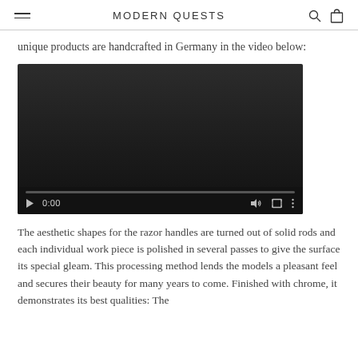MODERN QUESTS
unique products are handcrafted in Germany in the video below:
[Figure (screenshot): Embedded video player showing a dark/black frame with playback controls at the bottom: play button, time display 0:00, volume icon, fullscreen icon, and more options icon. A progress bar is visible at the bottom.]
The aesthetic shapes for the razor handles are turned out of solid rods and each individual work piece is polished in several passes to give the surface its special gleam. This processing method lends the models a pleasant feel and secures their beauty for many years to come. Finished with chrome, it demonstrates its best qualities: The